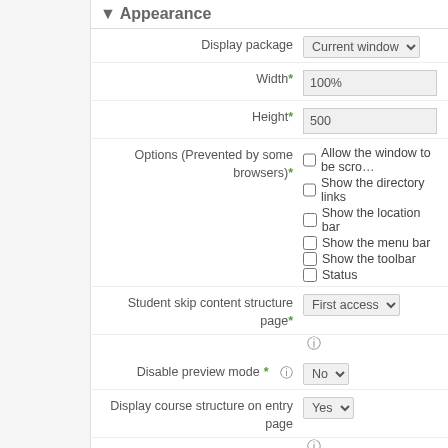Appearance
Display package: Current window
Width*: 100%
Height*: 500
Options (Prevented by some browsers)*: Allow the window to be scrolled, Show the directory links, Show the location bar, Show the menu bar, Show the toolbar, Status
Student skip content structure page*: First access
Disable preview mode*: No
Display course structure on entry page: Yes
Display course structure in player*: To the side
Show Navigation*: Floating